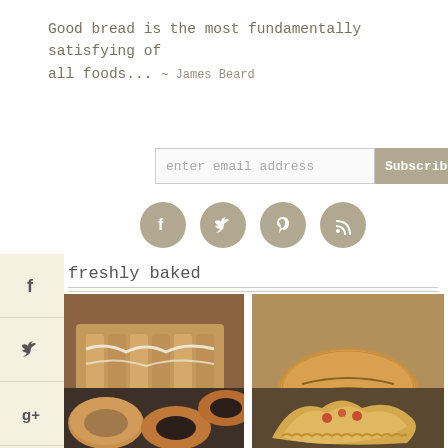Good bread is the most fundamentally satisfying of all foods... ~ James Beard
enter email address  Subscribe
[Figure (infographic): Social media icons row: Facebook, Twitter, Pinterest, RSS]
[Figure (infographic): Left sidebar with social sharing icons: f (Facebook), Twitter bird, g+ (Google+), Pinterest p, envelope (email)]
freshly baked
[Figure (photo): Sliced glazed bread loaf with icing drizzle, dusted with powdered sugar on a wooden board]
[Figure (photo): Close-up of rustic oval bread rolls on linen cloth]
[Figure (photo): Bagels on a dark surface]
[Figure (photo): Pastry or pie with golden crust]